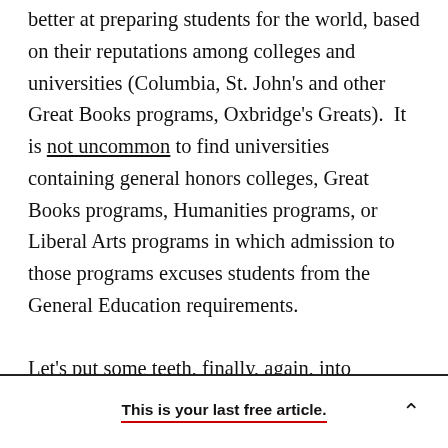better at preparing students for the world, based on their reputations among colleges and universities (Columbia, St. John's and other Great Books programs, Oxbridge's Greats).  It is not uncommon to find universities containing general honors colleges, Great Books programs, Humanities programs, or Liberal Arts programs in which admission to those programs excuses students from the General Education requirements.

Let's put some teeth, finally, again, into General Education.  Here's how that General Ed part of the bachelor's could look, with one of its aims being to
This is your last free article.